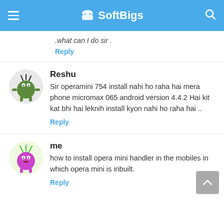SoftBigs
.what can I do sir .
Reply
Reshu
Sir operamini 754 install nahi ho raha hai mera phone micromax 065 android version 4.4.2 Hai kit kat bhi hai leknih install kyon nahi ho raha hai ..
Reply
me
how to install opera mini handler in the mobiles in which opera mini is inbuilt.
Reply